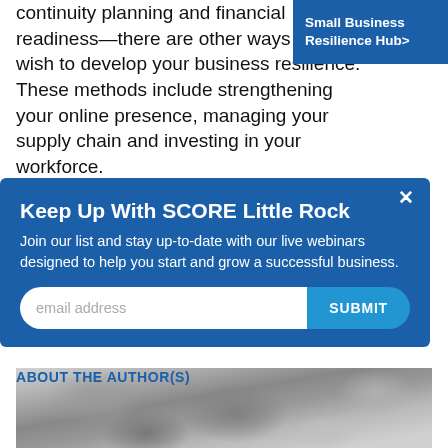continuity planning and financial readiness—there are other ways you may wish to develop your business resilience. These methods include strengthening your online presence, managing your supply chain and investing in your workforce.
[Figure (screenshot): Blue banner/tab in top-right corner reading 'Small Business Resilience Hub>']
[Figure (screenshot): Modal popup with blue background. Title: 'Keep Up With SCORE Little Rock'. Body: 'Join our list and stay up-to-date with our live webinars designed to help you start and grow a successful business.' Email input field and SUBMIT button. X close button in top right.]
ABOUT THE AUTHOR(S)
[Figure (photo): Black and white photo of a person, partially visible at the bottom of the page, with a stone/rock background.]